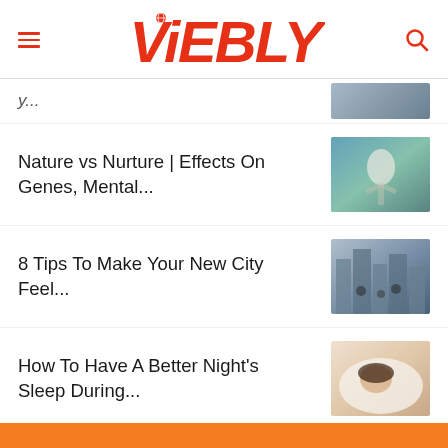ViEBLY (logo with hamburger menu and search icon)
Nature vs Nurture | Effects On Genes, Mental...
8 Tips To Make Your New City Feel...
How To Have A Better Night's Sleep During...
[Figure (screenshot): Advertisement banner: orange background with white overlay box containing a store listing ad. Shows K-logo, checkmark for In-store shopping, X for In-store pickup, X for Delivery, and a navigation/directions icon.]